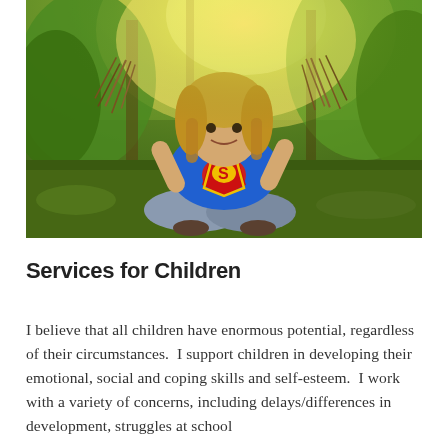[Figure (photo): A young child with blonde hair wearing a blue Superman t-shirt, sitting cross-legged outdoors on grass in a wooded area, holding up bunches of dry grass/sticks in both hands. Warm golden sunlight filters through trees in the background.]
Services for Children
I believe that all children have enormous potential, regardless of their circumstances.  I support children in developing their emotional, social and coping skills and self-esteem.  I work with a variety of concerns, including delays/differences in development, struggles at school